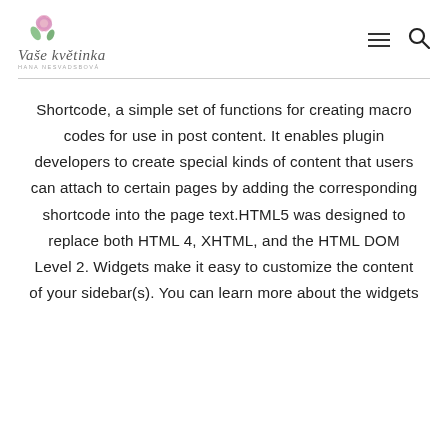Vaše květinka – Hana Nesvadsbová [logo with navigation hamburger and search icon]
Shortcode, a simple set of functions for creating macro codes for use in post content. It enables plugin developers to create special kinds of content that users can attach to certain pages by adding the corresponding shortcode into the page text.HTML5 was designed to replace both HTML 4, XHTML, and the HTML DOM Level 2. Widgets make it easy to customize the content of your sidebar(s). You can learn more about the widgets